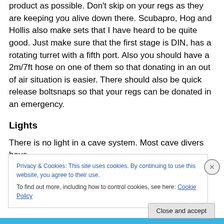product as possible. Don't skip on your regs as they are keeping you alive down there. Scubapro, Hog and Hollis also make sets that I have heard to be quite good. Just make sure that the first stage is DIN, has a rotating turret with a fifth port. Also you should have a 2m/7ft hose on one of them so that donating in an out of air situation is easier. There should also be quick release boltsnaps so that your regs can be donated in an emergency.
Lights
There is no light in a cave system. Most cave divers have
Privacy & Cookies: This site uses cookies. By continuing to use this website, you agree to their use.
To find out more, including how to control cookies, see here: Cookie Policy